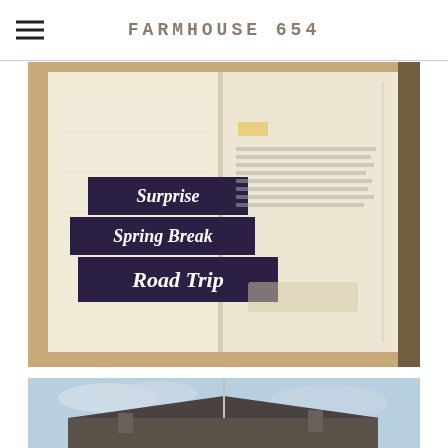FARMHOUSE 654
[Figure (photo): A close-up photo of an open book/journal page showing three dark navy/purple text banners reading 'Surprise Spring Break Road Trip' stacked diagonally, with some handwritten or printed text to the right side, on a warm beige background.]
[Figure (photo): A partial photo of a building rooftop with a flag pole against a light blue sky with clouds.]